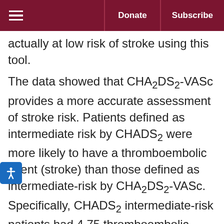Donate | Subscribe
actually at low risk of stroke using this tool.
The data showed that CHA2DS2-VASc provides a more accurate assessment of stroke risk. Patients defined as intermediate risk by CHADS2 were more likely to have a thromboembolic event (stroke) than those defined as intermediate-risk by CHA2DS2-VASc. Specifically, CHADS2 intermediate-risk patients had 4.75 thromboembolic events per 100 person years at one year compared to 2.01 for CHA2DS2-VASc intermediate-risk patients. At five years, CHADS2 intermediate-risk patients had 3.70 thromboembolic events per 100 person years